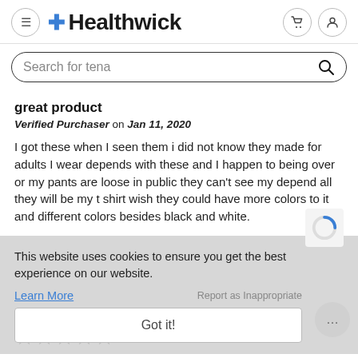[Figure (screenshot): Healthwick website header with hamburger menu, logo with blue plus sign, cart icon, and user icon]
Search for tena
great product
Verified Purchaser on Jan 11, 2020
I got these when I seen them i did not know they made for adults I wear depends with these and I happen to being over or my pants are loose in public they can't see my depend all they will be my t shirt wish they could have more colors to it and different colors besides black and white.
This website uses cookies to ensure you get the best experience on our website.
Learn More
Report as Inappropriate
Got it!